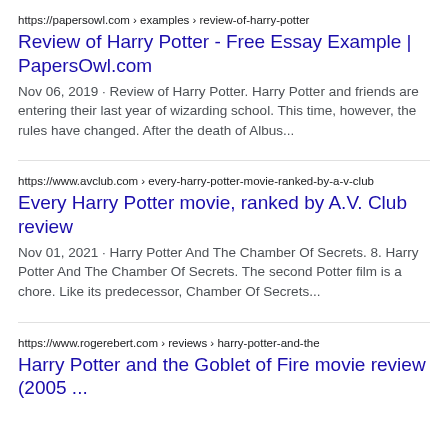https://papersowl.com › examples › review-of-harry-potter
Review of Harry Potter - Free Essay Example | PapersOwl.com
Nov 06, 2019 · Review of Harry Potter. Harry Potter and friends are entering their last year of wizarding school. This time, however, the rules have changed. After the death of Albus...
https://www.avclub.com › every-harry-potter-movie-ranked-by-a-v-club
Every Harry Potter movie, ranked by A.V. Club review
Nov 01, 2021 · Harry Potter And The Chamber Of Secrets. 8. Harry Potter And The Chamber Of Secrets. The second Potter film is a chore. Like its predecessor, Chamber Of Secrets...
https://www.rogerebert.com › reviews › harry-potter-and-the
Harry Potter and the Goblet of Fire movie review (2005 ...